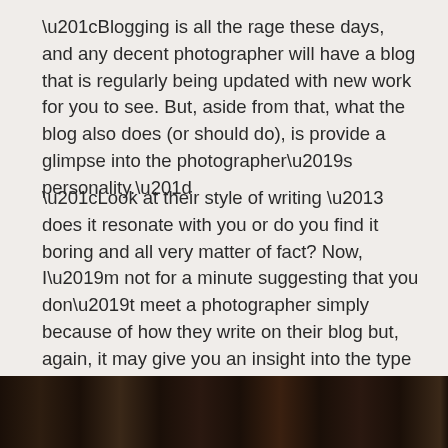“Blogging is all the rage these days, and any decent photographer will have a blog that is regularly being updated with new work for you to see. But, aside from that, what the blog also does (or should do), is provide a glimpse into the photographer’s personality.”
“Look at their style of writing – does it resonate with you or do you find it boring and all very matter of fact? Now, I’m not for a minute suggesting that you don’t meet a photographer simply because of how they write on their blog but, again, it may give you an insight into the type of person that they are, or aren’t, depending on which way you look at it, and all of this stuff helps.”
[Figure (photo): Dark photographic strip at the bottom of the page showing a low-light outdoor scene]